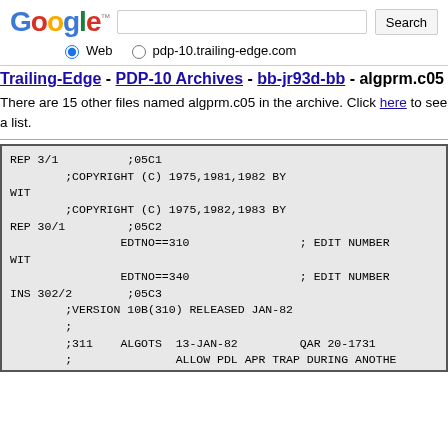Google [logo] Search bar with Search button
Web  pdp-10.trailing-edge.com
Trailing-Edge - PDP-10 Archives - bb-jr93d-bb - algprm.c05
There are 15 other files named algprm.c05 in the archive. Click here to see a list.
REP 3/1          ;05C1
        ;COPYRIGHT (C) 1975,1981,1982 BY
WIT
        ;COPYRIGHT (C) 1975,1982,1983 BY
REP 30/1         ;05C2
                EDTNO==310                ; EDIT NUMBER
WIT
                EDTNO==340                ; EDIT NUMBER
INS 302/2        ;05C3
        ;VERSION 10B(310) RELEASED JAN-82
        ;
        ;311    ALGOTS  13-JAN-82         QAR 20-1731
        ;               ALLOW PDL APR TRAP DURING ANOTHE
        ;               GETTING STEPPED ON TWICE IN A R
        ;
        ;312    ALGLIB  23-DEC-81         QAR 20-1743
        ;               STRING READ BLEW UP AT EOF INC